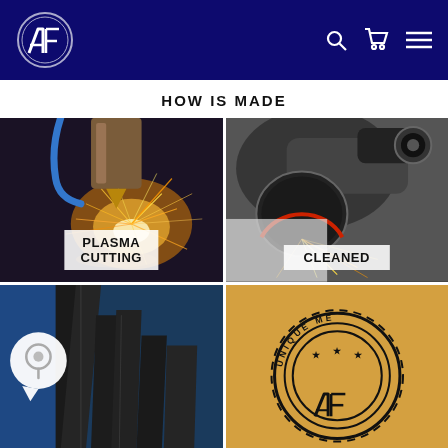[Figure (logo): AF logo circle with stylized AF letters, white on dark navy background, navigation bar with search, cart, and hamburger menu icons]
HOW IS MADE
[Figure (photo): Plasma cutting machine cutting metal with bright sparks flying, dark background with blue hose visible, label PLASMA CUTTING overlaid at bottom]
[Figure (photo): Angle grinder being applied to metal surface with sparks, gloved hand visible, label CLEANED overlaid at bottom]
[Figure (photo): Dark metal fabricated parts standing upright, blue background, chat bubble icon overlay]
[Figure (logo): Circular gear logo with AF letters and stars, text UNIQUE ME partially visible, on golden/tan background]